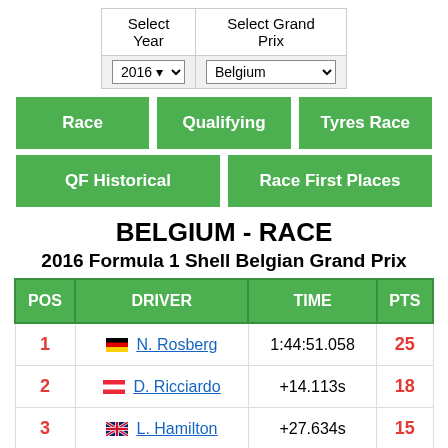| Select Year | Select Grand Prix |
| --- | --- |
| 2016 ▾ | Belgium ▾ |
Race
Qualifying
Tyres Race
QF Historical
Race First Places
BELGIUM - RACE
2016 Formula 1 Shell Belgian Grand Prix
| POS | DRIVER | TIME | PTS |
| --- | --- | --- | --- |
| 1 | N. Rosberg | 1:44:51.058 | 25 |
| 2 | D. Ricciardo | +14.113s | 18 |
| 3 | L. Hamilton | +27.634s | 15 |